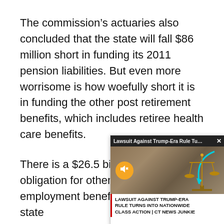The commission's actuaries also concluded that the state will fall $86 million short in funding its 2011 pension liabilities. But even more worrisome is how woefully short it is in funding the other post retirement benefits, which includes retiree health care benefits.
There is a $26.5 billion unfunded obligation for other post retirement employment benefits for state [obscured] required contribut[obscured]
A November 2009 [obscured] State and Local Go[obscured] that Connecticut's[obscured]
[Figure (screenshot): Ad overlay popup showing 'Lawsuit Against Trump-Era Rule Tu...' with an X close button, a muted speaker icon, image of scales of justice, and text 'LAWSUIT AGAINST TRUMP-ERA RULE TURNS INTO NATIONWIDE CLASS ACTION | CT NEWS JUNKIE']